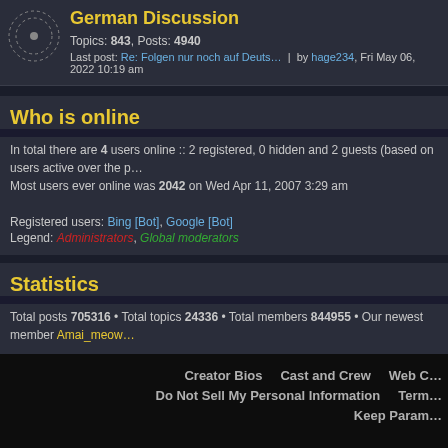German Discussion
Topics: 843, Posts: 4940
Last post: Re: Folgen nur noch auf Deuts… | by hage234, Fri May 06, 2022 10:19 am
Who is online
In total there are 4 users online :: 2 registered, 0 hidden and 2 guests (based on users active over the p…
Most users ever online was 2042 on Wed Apr 11, 2007 3:29 am
Registered users: Bing [Bot], Google [Bot]
Legend: Administrators, Global moderators
Statistics
Total posts 705316 • Total topics 24336 • Total members 844955 • Our newest member Amai_meow…
Creator Bios   Cast and Crew   Web C…
Do Not Sell My Personal Information   Term…
Keep Param…